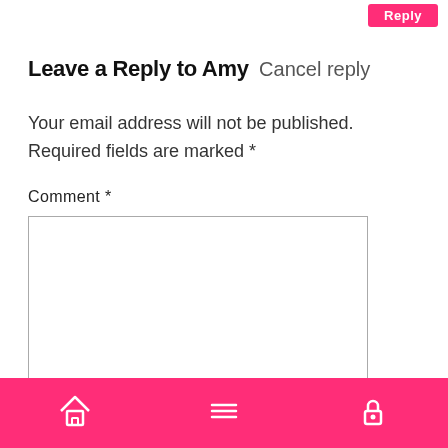Leave a Reply to Amy Cancel reply
Your email address will not be published. Required fields are marked *
Comment *
[Figure (other): Empty comment text area input box with border]
Navigation bar with home, menu, and lock icons